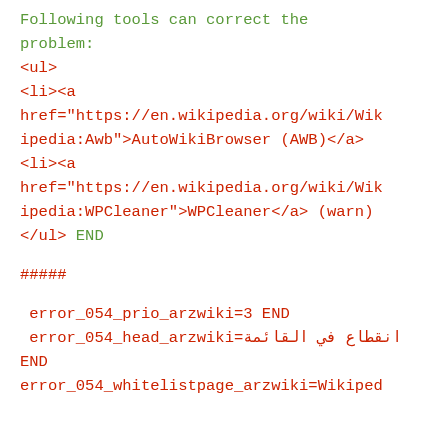Following tools can correct the problem:
<ul>
<li><a href="https://en.wikipedia.org/wiki/Wikipedia:Awb">AutoWikiBrowser (AWB)</a>
<li><a href="https://en.wikipedia.org/wiki/Wikipedia:WPCleaner">WPCleaner</a> (warn)
</ul> END
#####
error_054_prio_arzwiki=3 END
 error_054_head_arzwiki=انقطاع في القائمة END
error_054_whitelistpage_arzwiki=Wikiped